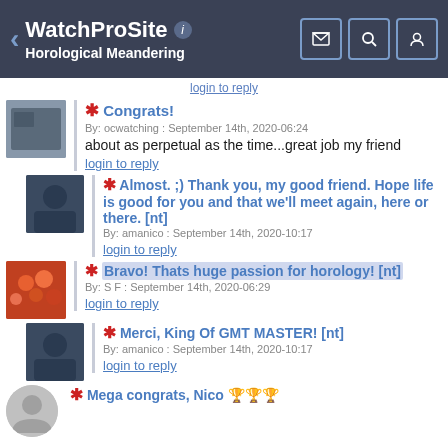WatchProSite — Horological Meandering
login to reply
Congrats!
By: ocwatching : September 14th, 2020-06:24
about as perpetual as the time...great job my friend
login to reply
Almost. ;) Thank you, my good friend. Hope life is good for you and that we'll meet again, here or there. [nt]
By: amanico : September 14th, 2020-10:17
login to reply
Bravo! Thats huge passion for horology! [nt]
By: S F : September 14th, 2020-06:29
login to reply
Merci, King Of GMT MASTER! [nt]
By: amanico : September 14th, 2020-10:17
login to reply
Mega congrats, Nico 🏆🏆🏆